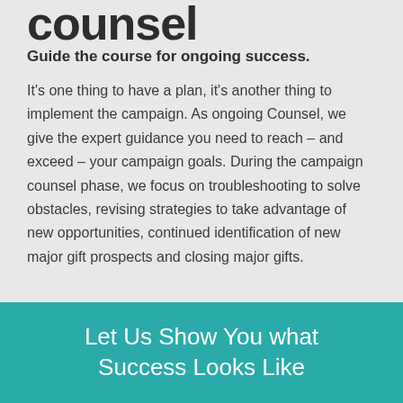counsel
Guide the course for ongoing success.
It's one thing to have a plan, it's another thing to implement the campaign. As ongoing Counsel, we give the expert guidance you need to reach – and exceed – your campaign goals. During the campaign counsel phase, we focus on troubleshooting to solve obstacles, revising strategies to take advantage of new opportunities, continued identification of new major gift prospects and closing major gifts.
Let Us Show You what Success Looks Like